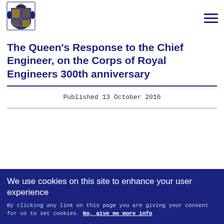[Figure (logo): Royal coat of arms logo in dark blue]
The Queen's Response to the Chief Engineer, on the Corps of Royal Engineers 300th anniversary
Published 13 October 2016
We use cookies on this site to enhance your user experience
By clicking any link on this page you are giving your consent for us to set cookies. No, give me more info